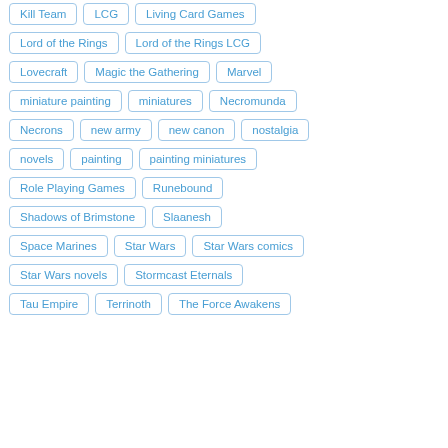Kill Team
LCG
Living Card Games
Lord of the Rings
Lord of the Rings LCG
Lovecraft
Magic the Gathering
Marvel
miniature painting
miniatures
Necromunda
Necrons
new army
new canon
nostalgia
novels
painting
painting miniatures
Role Playing Games
Runebound
Shadows of Brimstone
Slaanesh
Space Marines
Star Wars
Star Wars comics
Star Wars novels
Stormcast Eternals
Tau Empire
Terrinoth
The Force Awakens